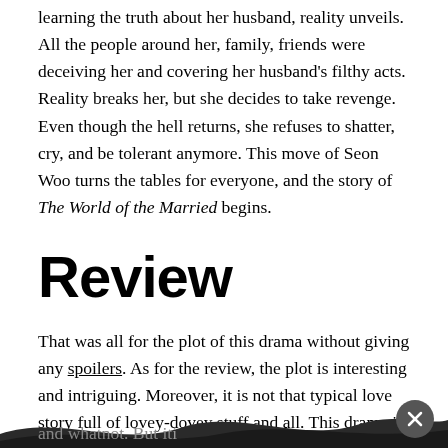learning the truth about her husband, reality unveils. All the people around her, family, friends were deceiving her and covering her husband's filthy acts. Reality breaks her, but she decides to take revenge. Even though the hell returns, she refuses to shatter, cry, and be tolerant anymore. This move of Seon Woo turns the tables for everyone, and the story of The World of the Married begins.
Review
That was all for the plot of this drama without giving any spoilers. As for the review, the plot is interesting and intriguing. Moreover, it is not that typical love story full of lovey-dovey stuff and all. This drama is all about love, lust, divorce, family, friends, remarriage, obsessions, and whatnot. But it...